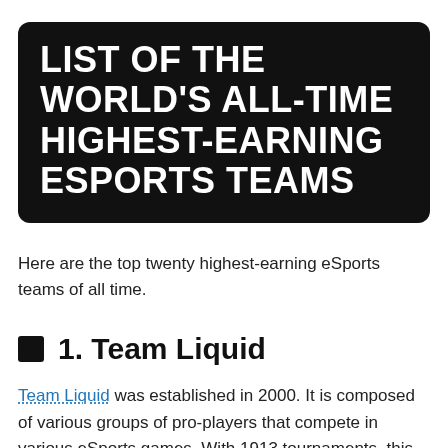LIST OF THE WORLD'S ALL-TIME HIGHEST-EARNING ESPORTS TEAMS
Here are the top twenty highest-earning eSports teams of all time.
1. Team Liquid
Team Liquid was established in 2000. It is composed of various groups of pro-players that compete in various eSports games. With 1913 tournaments, this team is now the highest earner in the world of eSports gaming. Team